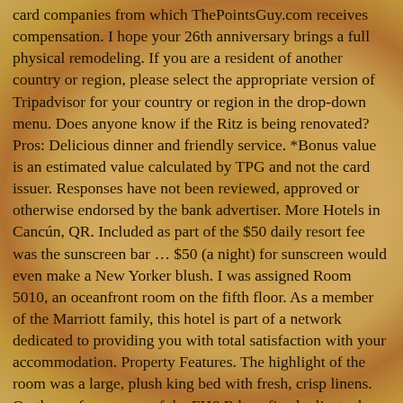card companies from which ThePointsGuy.com receives compensation. I hope your 26th anniversary brings a full physical remodeling. If you are a resident of another country or region, please select the appropriate version of Tripadvisor for your country or region in the drop-down menu. Does anyone know if the Ritz is being renovated? Pros: Delicious dinner and friendly service. *Bonus value is an estimated value calculated by TPG and not the card issuer. Responses have not been reviewed, approved or otherwise endorsed by the bank advertiser. More Hotels in Cancún, QR. Included as part of the $50 daily resort fee was the sunscreen bar … $50 (a night) for sunscreen would even make a New Yorker blush. I was assigned Room 5010, an oceanfront room on the fifth floor. As a member of the Marriott family, this hotel is part of a network dedicated to providing you with total satisfaction with your accommodation. Property Features. The highlight of the room was a large, plush king bed with fresh, crisp linens. On the surface, many of the FH&R benefits duplicate those of Marriott Titanium and Ambassador elite status, but getting a confirmed 4pm late checkout and an F&B credit are perks exclusive to the FH&R program. The Ritz-Carlton, St Thomas, long the leading hotel in the United States Virgin Islands, began welcoming guests again on Saturday, Nov. 23. Ritz Carlton Cancun in Aug The staff and property at this Ritz Carlton location were great. Mexico-native star chef Enrique Olvera introduced the city to an upscale, ultra-inventive take on his native cuisine with Cosme in 2014. I then